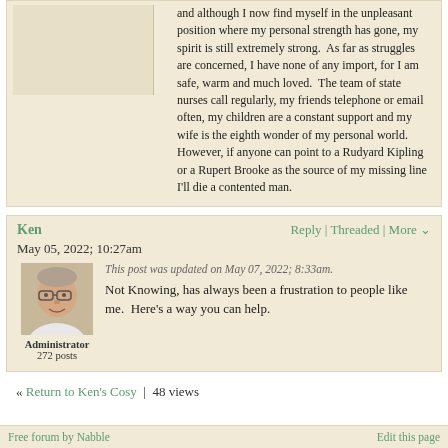and although I now find myself in the unpleasant position where my personal strength has gone, my spirit is still extremely strong.  As far as struggles are concerned, I have none of any import, for I am safe, warm and much loved.  The team of state nurses call regularly, my friends telephone or email often, my children are a constant support and my wife is the eighth wonder of my personal world.  However, if anyone can point to a Rudyard Kipling or a Rupert Brooke as the source of my missing line I'll die a contented man.
Ken
Reply | Threaded | More
May 05, 2022; 10:27am
[Figure (photo): Profile photo of Ken, showing an older man with glasses]
Administrator
272 posts
This post was updated on May 07, 2022; 8:33am.
Not Knowing, has always been a frustration to people like me.  Here's a way you can help.
« Return to Ken's Cosy  |  48 views
Free forum by Nabble   Edit this page